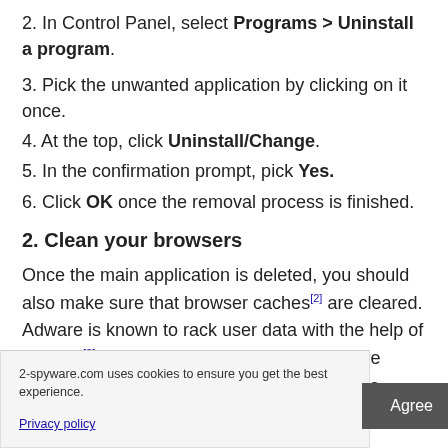2. In Control Panel, select Programs > Uninstall a program.
3. Pick the unwanted application by clicking on it once.
4. At the top, click Uninstall/Change.
5. In the confirmation prompt, pick Yes.
6. Click OK once the removal process is finished.
2. Clean your browsers
Once the main application is deleted, you should also make sure that browser caches[2] are cleared. Adware is known to rack user data with the help of cookies[3] and similar technologies, which are stored locally. Even after the se components erefore, ensure ility or follow the caches.
2-spyware.com uses cookies to ensure you get the best experience.
Privacy policy
Agree